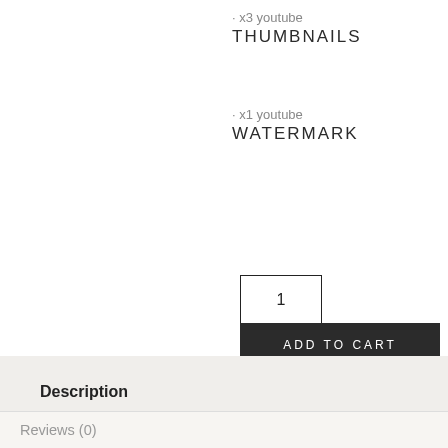· x3 youtube THUMBNAILS
· x1 youtube WATERMARK
1
ADD TO CART
SKU: hannah-youtube-branding-kit Category: YouTube Branding Tag: Youtube Branding Kit
Description
Reviews (0)